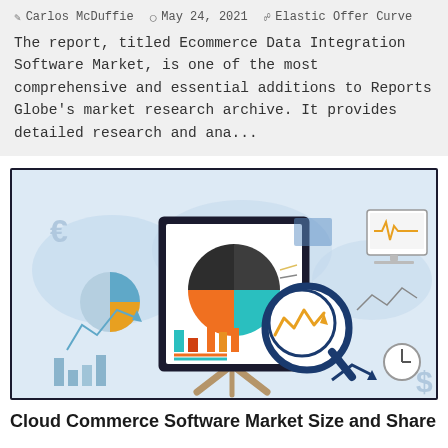Carlos McDuffie  May 24, 2021  Elastic Offer Curve
The report, titled Ecommerce Data Integration Software Market, is one of the most comprehensive and essential additions to Reports Globe's market research archive. It provides detailed research and ana...
[Figure (illustration): Illustration of a market research/data analytics concept showing a presentation easel with a board displaying a pie chart (dark gray, teal, orange segments), bar charts, and a magnifying glass zooming in on a line graph. Background shows light blue world map with currency symbols, trend arrows, bar charts, a monitor with EKG line, a clock, and a dollar sign.]
Cloud Commerce Software Market Size and Share